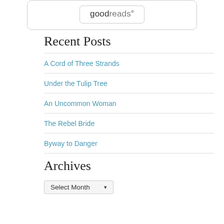[Figure (logo): Goodreads logo inside a rounded rectangle widget border with inner rounded rectangle border]
Recent Posts
A Cord of Three Strands
Under the Tulip Tree
An Uncommon Woman
The Rebel Bride
Byway to Danger
Archives
Select Month